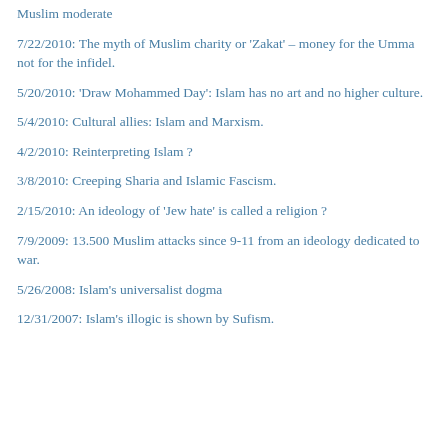Muslim moderate
7/22/2010:  The myth of Muslim charity or 'Zakat' – money for the Umma not for the infidel.
5/20/2010:  'Draw Mohammed Day': Islam has no art and no higher culture.
5/4/2010:  Cultural allies: Islam and Marxism.
4/2/2010:  Reinterpreting Islam ?
3/8/2010:  Creeping Sharia and Islamic Fascism.
2/15/2010:  An ideology of 'Jew hate' is called a religion ?
7/9/2009:  13.500 Muslim attacks since 9-11 from an ideology dedicated to war.
5/26/2008:  Islam's universalist dogma
12/31/2007:  Islam's illogic is shown by Sufism.